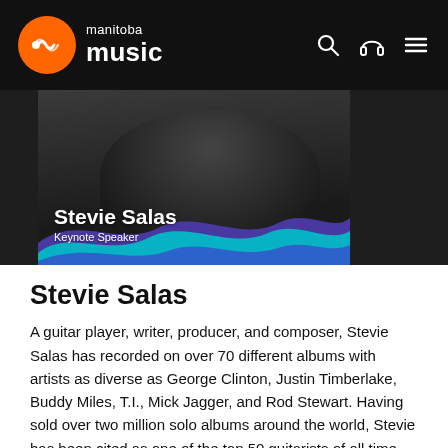manitoba music
[Figure (photo): Hero image of Stevie Salas with wave graphic overlay, showing name 'Stevie Salas' and title 'Keynote Speaker']
Stevie Salas
A guitar player, writer, producer, and composer, Stevie Salas has recorded on over 70 different albums with artists as diverse as George Clinton, Justin Timberlake, Buddy Miles, T.I., Mick Jagger, and Rod Stewart. Having sold over two million solo albums around the world, Stevie has been cited as one of the top 50 guitarists of all time.
Dreaming of a career in music, Stevie left the small